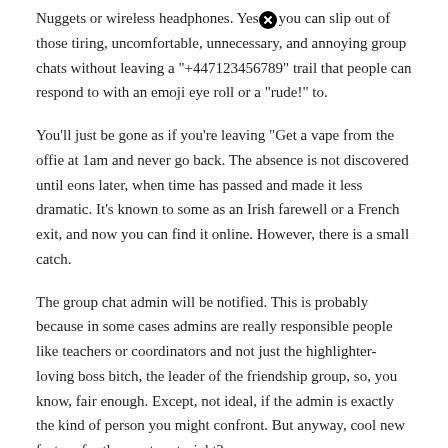Nuggets or wireless headphones. Yes, you can slip out of those tiring, uncomfortable, unnecessary, and annoying group chats without leaving a "+447123456789" trail that people can respond to with an emoji eye roll or a "rude!" to.
You'll just be gone as if you're leaving "Get a vape from the offie at 1am and never go back. The absence is not discovered until eons later, when time has passed and made it less dramatic. It's known to some as an Irish farewell or a French exit, and now you can find it online. However, there is a small catch.
The group chat admin will be notified. This is probably because in some cases admins are really responsible people like teachers or coordinators and not just the highlighter-loving boss bitch, the leader of the friendship group, so, you know, fair enough. Except, not ideal, if the admin is exactly the kind of person you might confront. But anyway, cool new feature for the most part, right?
This isn't the only recent change to Meta's proprietary instant messaging service, either. WhatsApp just added [X] e too "View once setting for images,